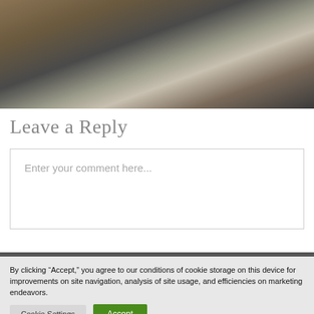[Figure (photo): Partial photo of a person standing outdoors among rocks and logs, wearing a grey sweater and black pants]
Leave a Reply
Enter your comment here...
By clicking “Accept,” you agree to our conditions of cookie storage on this device for improvements on site navigation, analysis of site usage, and efficiencies on marketing endeavors.
Cookie Settings
Accept